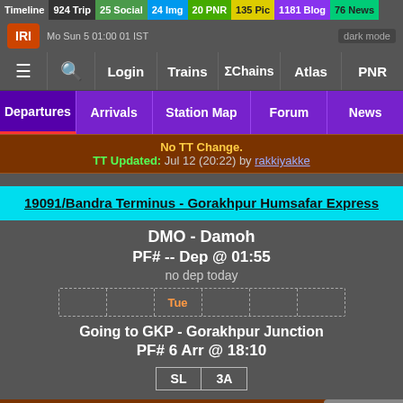Timeline 924 Trip 25 Social 24 Img 20 PNR 135 Pic 1181 Blog 76 News
dark mode
Login | Trains | ΣChains | Atlas | PNR
Departures | Arrivals | Station Map | Forum | News
No TT Change. TT Updated: Jul 12 (20:22) by rakkiyakke
19091/Bandra Terminus - Gorakhpur Humsafar Express
DMO - Damoh
PF# -- Dep @ 01:55
no dep today
Tue
Going to GKP - Gorakhpur Junction
PF# 6 Arr @ 18:10
SL  3A
Src/Dest Changed. TT Updated: Jul 24 (10:08) by KarnavatiExpress^~
Scroll to Bottom